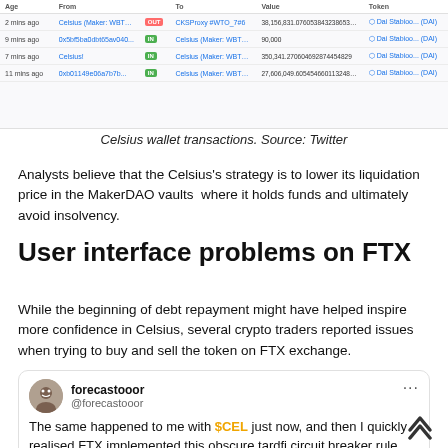[Figure (screenshot): Celsius wallet transactions table from blockchain explorer showing Age, From, To, Value, and Token columns with 4 transaction rows.]
Celsius wallet transactions. Source: Twitter
Analysts believe that the Celsius's strategy is to lower its liquidation price in the MakerDAO vaults  where it holds funds and ultimately avoid insolvency.
User interface problems on FTX
While the beginning of debt repayment might have helped inspire more confidence in Celsius, several crypto traders reported issues when trying to buy and sell the token on FTX exchange.
[Figure (screenshot): Tweet from @forecastooor saying: The same happened to me with $CEL just now, and then I quickly realised FTX implemented this obscure tardfi circuit breaker rule last month.]